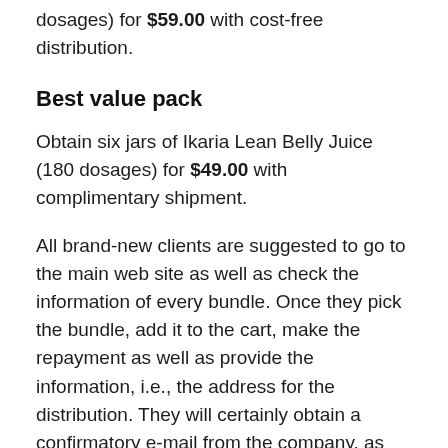dosages) for $59.00 with cost-free distribution.
Best value pack
Obtain six jars of Ikaria Lean Belly Juice (180 dosages) for $49.00 with complimentary shipment.
All brand-new clients are suggested to go to the main web site as well as check the information of every bundle. Once they pick the bundle, add it to the cart, make the repayment as well as provide the information, i.e., the address for the distribution. They will certainly obtain a confirmatory e-mail from the company, as well as their order will certainly reach their address within